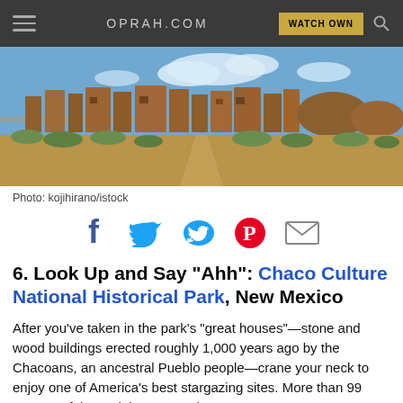OPRAH.COM  WATCH OWN
[Figure (photo): Chaco Culture ruins — ancient stone buildings in desert landscape with green shrubs and blue sky]
Photo: kojihirano/istock
[Figure (infographic): Social sharing icons: Facebook, Twitter, Pinterest, Email]
6. Look Up and Say "Ahh": Chaco Culture National Historical Park, New Mexico
After you've taken in the park's "great houses"—stone and wood buildings erected roughly 1,000 years ago by the Chacoans, an ancestral Pueblo people—crane your neck to enjoy one of America's best stargazing sites. More than 99 percent of the park is a "natural